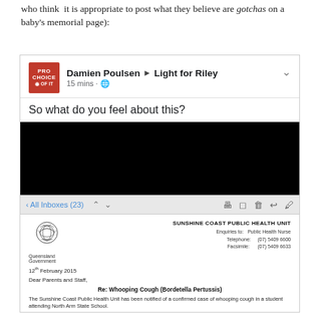who think it is appropriate to post what they believe are gotchas on a baby's memorial page):
[Figure (screenshot): Screenshot of a Facebook post by Damien Poulsen shared to Light for Riley page, with profile logo 'PRO CHOICE OF IT'. Post reads 'So what do you feel about this?' followed by a black image, then an email screenshot from the Sunshine Coast Public Health Unit dated 12th February 2015 addressed to 'Dear Parents and Staff' regarding 'Re: Whooping Cough (Bordetella Pertussis)', discussing a confirmed case at North Arm State School and information about the illness.]